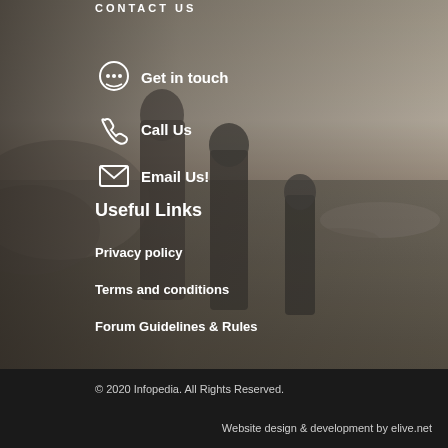[Figure (photo): Vintage black-and-white photograph of three children running outdoors in a field, used as background image for a website footer section.]
Get in touch
Call Us
Email Us!
Useful Links
Privacy policy
Terms and conditions
Forum Guidelines & Rules
© 2020 Infopedia. All Rights Reserved.
Website design & development by elive.net